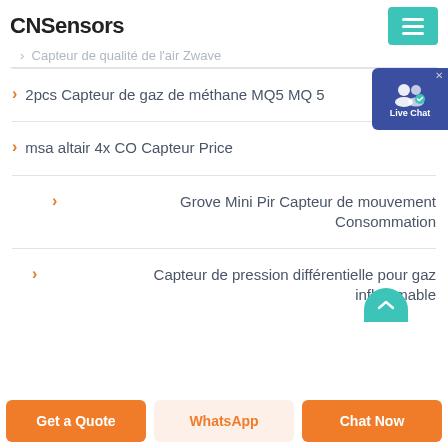CNSensors
Capteur de qualité de l'air Zwave
2pcs Capteur de gaz de méthane MQ5 MQ 5
msa altair 4x CO Capteur Price
Grove Mini Pir Capteur de mouvement Consommation
Capteur de pression différentielle pour gaz inflammable
Get a Quote | WhatsApp | Chat Now